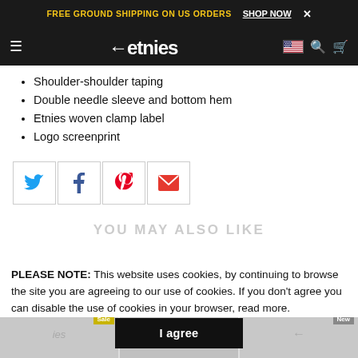FREE GROUND SHIPPING ON US ORDERS  SHOP NOW ×
≡  ←etnies  [flag] [search] [cart]
Shoulder-shoulder taping
Double needle sleeve and bottom hem
Etnies woven clamp label
Logo screenprint
[Figure (infographic): Social share buttons: Twitter (blue bird icon), Facebook (blue f icon), Pinterest (red P icon), Email (red envelope icon), each in a square bordered box]
YOU MAY ALSO LIKE
PLEASE NOTE: This website uses cookies, by continuing to browse the site you are agreeing to our use of cookies. If you don't agree you can disable the use of cookies in your browser, read more.
I agree
[Figure (photo): Partial product thumbnails row showing t-shirt images with Sale and New badges]